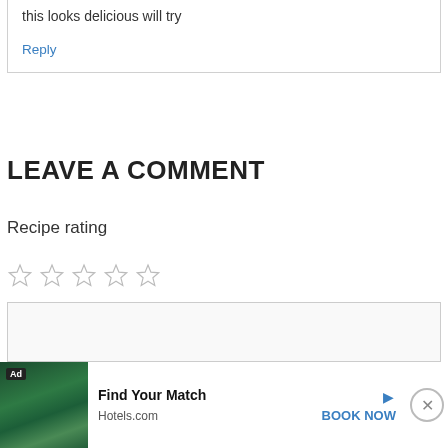this looks delicious will try
Reply
LEAVE A COMMENT
Recipe rating
[Figure (other): Five empty star rating icons in a row]
[Figure (other): Comment text area input box (empty)]
[Figure (other): Advertisement banner: Ad | image of tropical resort pool | Find Your Match | Hotels.com | BOOK NOW | close button]